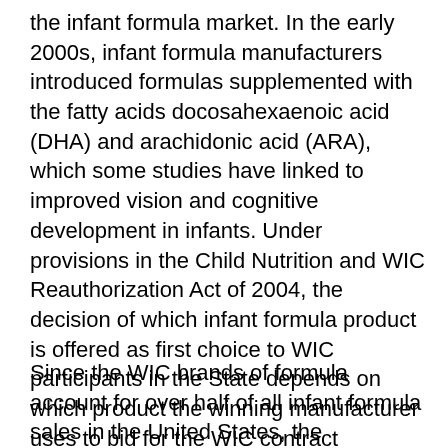the infant formula market. In the early 2000s, infant formula manufacturers introduced formulas supplemented with the fatty acids docosahexaenoic acid (DHA) and arachidonic acid (ARA), which some studies have linked to improved vision and cognitive development in infants. Under provisions in the Child Nutrition and WIC Reauthorization Act of 2004, the decision of which infant formula product is offered as first choice to WIC participants in the State depends on which product the winning manufacturer uses to bid for the WIC contract (previously, WIC State agencies specified the product to be used in the bid). Manufacturers have chosen to use the significantly higher priced supplemented formulas in their bids. As a result, WIC participants were provided these new supplemented formulas.
Since the WIC brands of formula account for over half of all infant formula sales in the United States, the